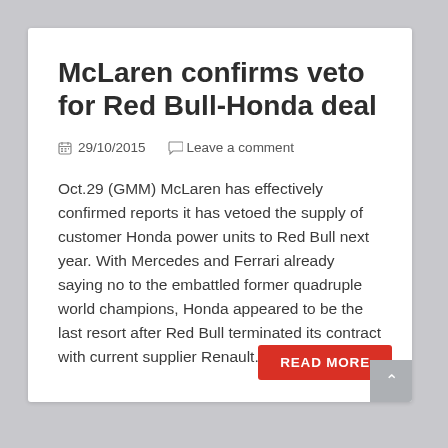McLaren confirms veto for Red Bull-Honda deal
29/10/2015   Leave a comment
Oct.29 (GMM) McLaren has effectively confirmed reports it has vetoed the supply of customer Honda power units to Red Bull next year. With Mercedes and Ferrari already saying no to the embattled former quadruple world champions, Honda appeared to be the last resort after Red Bull terminated its contract with current supplier Renault. “It would […]